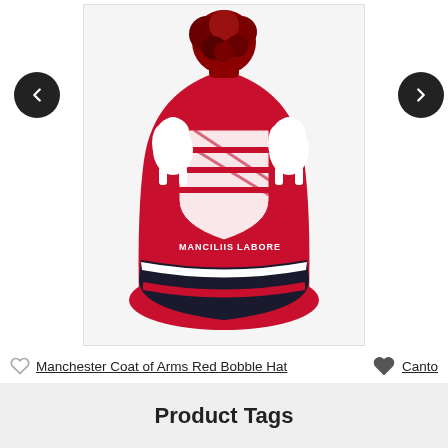[Figure (photo): Manchester Coat of Arms Red Bobble Hat product photo. A red knitted bobble hat with a dark red pom-pom on top, featuring a white Manchester coat of arms crest pattern on the body. The brim has a dark navy blue and white stripe band. Navigation arrows (left and right) are overlaid on the sides.]
Manchester Coat of Arms Red Bobble Hat
Product Tags